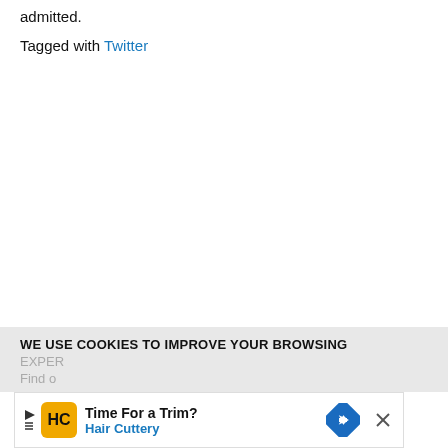admitted.
Tagged with Twitter
WE USE COOKIES TO IMPROVE YOUR BROWSING EXPER...
Find o...
[Figure (other): Advertisement banner for Hair Cuttery: 'Time For a Trim? Hair Cuttery' with logo and navigation arrow icon, and a close button.]